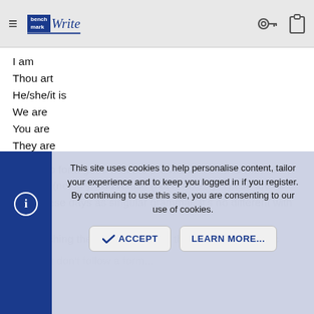BenchWrite — navigation header with hamburger menu, logo, key icon, clipboard icon
I am
Thou art
He/she/it is
We are
You are
They are
The verb form goes with the pronoun. You have (not has*). You are (not is*). You refuse (not refuses*). These are all used these days as singular grammar. It's no different with "they".
*or matching the "thou" form, like thou art, thou hast etc
Simply it don't follow a form...
This site uses cookies to help personalise content, tailor your experience and to keep you logged in if you register. By continuing to use this site, you are consenting to our use of cookies.